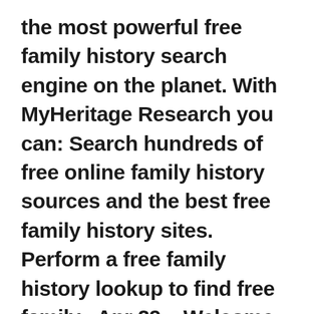the most powerful free family history search engine on the planet. With MyHeritage Research you can: Search hundreds of free online family history sources and the best free family history sites. Perform a free family history lookup to find free family . Apr 29,  · Welcome to the Family History Library Classes and Webinars page. On this page you will find a list of all the class schedules as well as webinars that will be taught. A webinar is a class that is